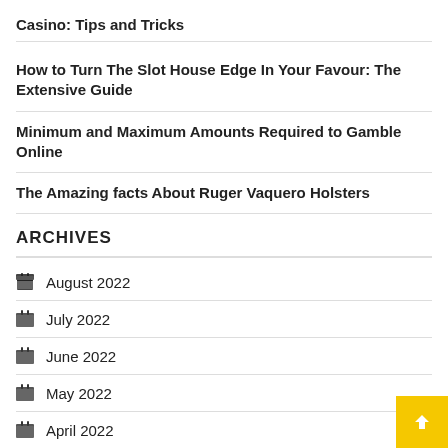Casino: Tips and Tricks
How to Turn The Slot House Edge In Your Favour: The Extensive Guide
Minimum and Maximum Amounts Required to Gamble Online
The Amazing facts About Ruger Vaquero Holsters
ARCHIVES
August 2022
July 2022
June 2022
May 2022
April 2022